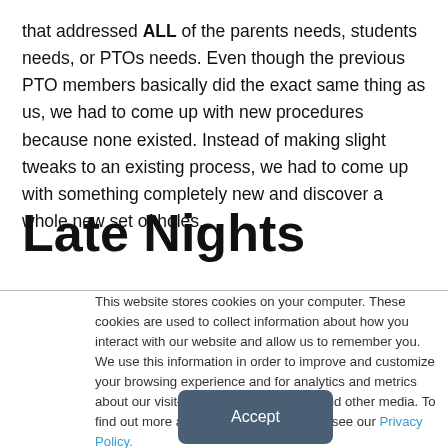that addressed ALL of the parents needs, students needs, or PTOs needs. Even though the previous PTO members basically did the exact same thing as us, we had to come up with new procedures because none existed. Instead of making slight tweaks to an existing process, we had to come up with something completely new and discover a whole new set of holes.
Late Nights
This website stores cookies on your computer. These cookies are used to collect information about how you interact with our website and allow us to remember you. We use this information in order to improve and customize your browsing experience and for analytics and metrics about our visitors both on this website and other media. To find out more about the cookies we use, see our Privacy Policy.
Accept